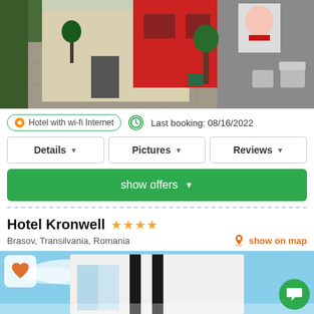[Figure (photo): Exterior photo of a hotel with a red accent wall, beige building, paved courtyard, trees and grey seating area with art on wall]
Hotel with wi-fi Internet
Last booking: 08/16/2022
Details
Pictures
Reviews
show offers
Hotel Kronwell ★★★★
Brasov, Transilvania, Romania
show on map
[Figure (photo): Modern white hotel building exterior against blue sky, with dark vertical stripe accents and a heart/favorite icon overlay]